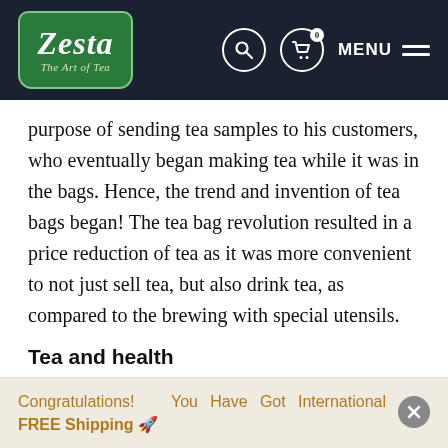Zesta – The Art of Tea
purpose of sending tea samples to his customers, who eventually began making tea while it was in the bags. Hence, the trend and invention of tea bags began! The tea bag revolution resulted in a price reduction of tea as it was more convenient to not just sell tea, but also drink tea, as compared to the brewing with special utensils.
Tea and health
The first discussion on the health benefits of tea and
Congratulations! You Have Got International FREE Shipping 🚀